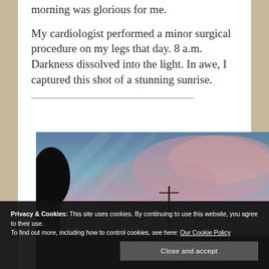morning was glorious for me.
My cardiologist performed a minor surgical procedure on my legs that day. 8 a.m. Darkness dissolved into the light. In awe, I captured this shot of a stunning sunrise.
[Figure (photo): A stunning sunrise photograph showing a pink and blue sky with wispy clouds, dark silhouettes of trees on the left, and what appears to be a utility pole in the middle distance.]
Privacy & Cookies: This site uses cookies. By continuing to use this website, you agree to their use.
To find out more, including how to control cookies, see here: Our Cookie Policy
Close and accept